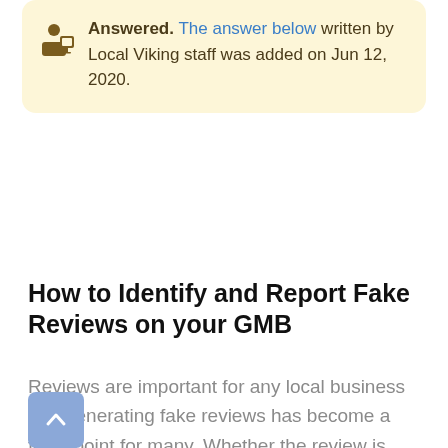Answered. The answer below written by Local Viking staff was added on Jun 12, 2020.
How to Identify and Report Fake Reviews on your GMB
Reviews are important for any local business and generating fake reviews has become a focal point for many. Whether the review is positive or negative you should treat it the same. For smaller businesses that manage their own reviews, they would likely know if the review lines up with the transactions they've had in the past